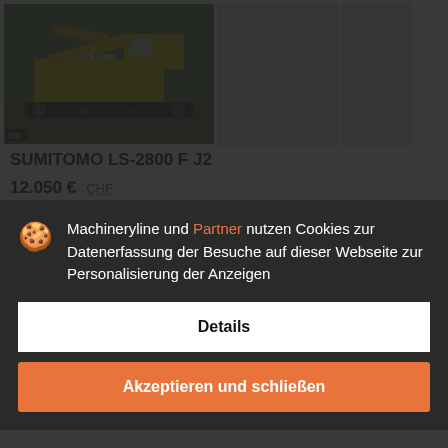[Figure (photo): Yellow tracked excavator SUMITOMO LS-2800 F J2 on a construction site]
[Figure (photo): Placeholder thumbnail image (blank/light gray)]
[Figure (photo): Partial placeholder thumbnail image (blank/light gray)]
SUMITOMO LS-2800 F J2
12.050 €  CHF
Kettenbagger
Jahr: 1992  Km-Stand: 15000 m/Bild
ATS Norway KS
Machineryline und Partner nutzen Cookies zur Datenerfassung der Besuche auf dieser Webseite zur Personalisierung der Anzeigen
Details
Akzeptieren und schließen